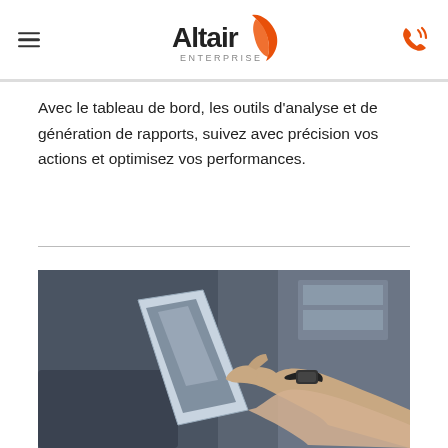Altair Enterprise
Avec le tableau de bord, les outils d’analyse et de génération de rapports, suivez avec précision vos actions et optimisez vos performances.
[Figure (photo): Person pointing at a tablet/laptop screen with finger, wearing a black smartwatch bracelet. Dark blurred background suggesting office or home environment.]